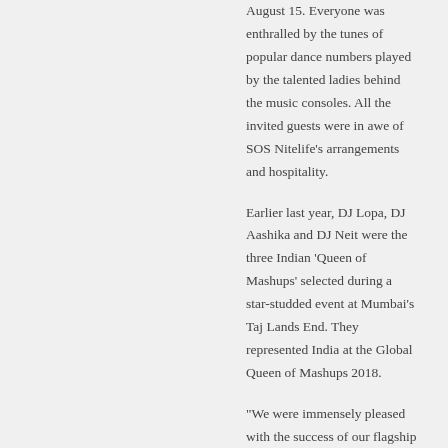August 15. Everyone was enthralled by the tunes of popular dance numbers played by the talented ladies behind the music consoles. All the invited guests were in awe of SOS Nitelife's arrangements and hospitality.
Earlier last year, DJ Lopa, DJ Aashika and DJ Neit were the three Indian 'Queen of Mashups' selected during a star-studded event at Mumbai's Taj Lands End. They represented India at the Global Queen of Mashups 2018.
“We were immensely pleased with the success of our flagship contest i.e. Global Queen of Mashups. We are now geared up for the third edition of India chapter of our championship. Our aim is to provide the platform for the Indian